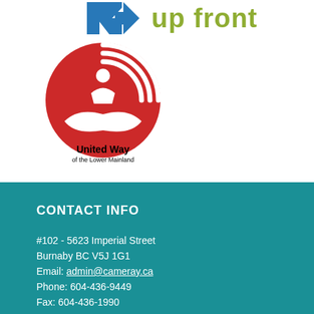[Figure (logo): Arrow/K shape logo with 'up front' text in olive/green color]
[Figure (logo): United Way of the Lower Mainland red circular logo with hands and person figure, with text 'United Way of the Lower Mainland']
CONTACT INFO
#102 - 5623 Imperial Street
Burnaby BC V5J 1G1
Email: admin@cameray.ca
Phone: 604-436-9449
Fax: 604-436-1990